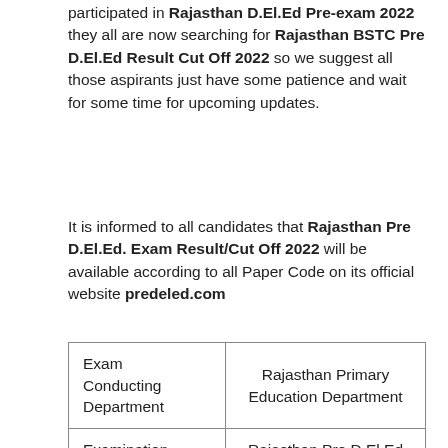participated in Rajasthan D.El.Ed Pre-exam 2022 they all are now searching for Rajasthan BSTC Pre D.El.Ed Result Cut Off 2022 so we suggest all those aspirants just have some patience and wait for some time for upcoming updates.
It is informed to all candidates that Rajasthan Pre D.El.Ed. Exam Result/Cut Off 2022 will be available according to all Paper Code on its official website predeled.com
| Exam Conducting Department | Rajasthan Primary Education Department |
| Examination | Rajasthan Pre D.El.Ed |